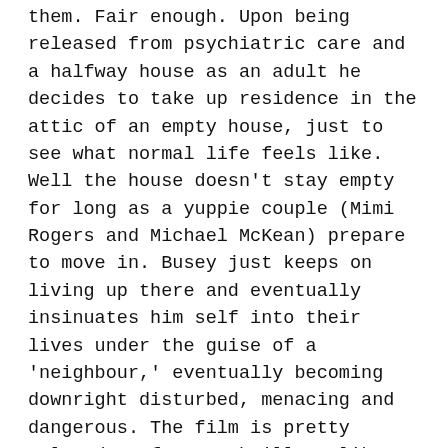them. Fair enough. Upon being released from psychiatric care and a halfway house as an adult he decides to take up residence in the attic of an empty house, just to see what normal life feels like. Well the house doesn't stay empty for long as a yuppie couple (Mimi Rogers and Michael McKean) prepare to move in. Busey just keeps on living up there and eventually insinuates him self into their lives under the guise of a 'neighbour,' eventually becoming downright disturbed, menacing and dangerous. The film is pretty relaxed as far as thrillers like this go, it takes a while to amp up to anything resembling tension and Busey, given the perfect runway to cut loose and turn in one of his patented loony performances, chooses instead to almost entirely rein it in except when the situation legit calls for a touch of hysteria. It's decent enough and I'll pretty much watch the guy in anything, he's just got such a presence, but this is low budget,